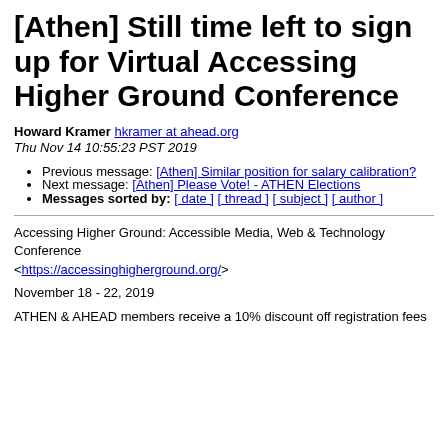[Athen] Still time left to sign up for Virtual Accessing Higher Ground Conference
Howard Kramer hkramer at ahead.org
Thu Nov 14 10:55:23 PST 2019
Previous message: [Athen] Similar position for salary calibration?
Next message: [Athen] Please Vote! - ATHEN Elections
Messages sorted by: [ date ] [ thread ] [ subject ] [ author ]
Accessing Higher Ground: Accessible Media, Web & Technology Conference
<https://accessinghigherground.org/>
November 18 - 22, 2019
ATHEN & AHEAD members receive a 10% discount off registration fees